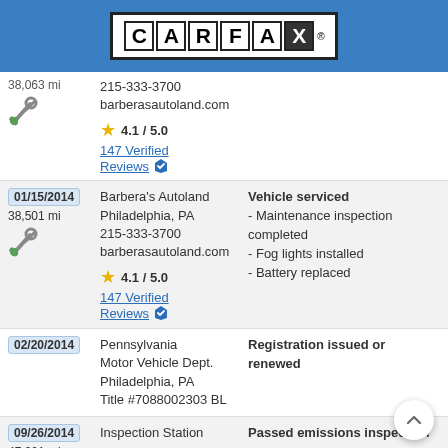[Figure (logo): CARFAX logo on blue header bar]
38,063 mi
215-333-3700
barberasautoland.com
4.1 / 5.0
147 Verified Reviews
| Date/Mileage | Source | Event |
| --- | --- | --- |
| 01/15/2014
38,501 mi | Barbera's Autoland
Philadelphia, PA
215-333-3700
barberasautoland.com
4.1 / 5.0
147 Verified Reviews | Vehicle serviced
- Maintenance inspection completed
- Fog lights installed
- Battery replaced |
| 02/20/2014 | Pennsylvania Motor Vehicle Dept.
Philadelphia, PA
Title #7088002303 BL | Registration issued or renewed |
| 09/26/2014
47,201 mi | Inspection Station | Passed emissions inspection |
| 06/26/2015 | Barbera's Autoland
Philadelphia, PA | Vehicle serviced
- Maintenance inspection completed |